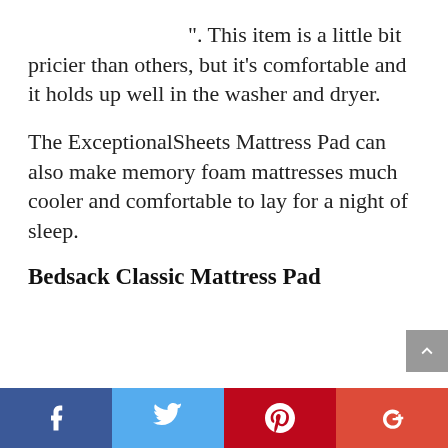”. This item is a little bit pricier than others, but it’s comfortable and it holds up well in the washer and dryer.
The ExceptionalSheets Mattress Pad can also make memory foam mattresses much cooler and comfortable to lay for a night of sleep.
Bedsack Classic Mattress Pad